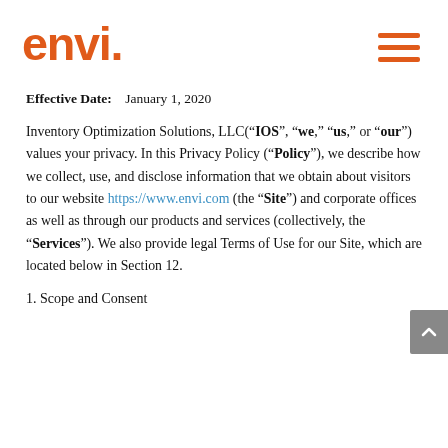envi. [logo] [hamburger menu]
Effective Date:    January 1, 2020
Inventory Optimization Solutions, LLC("IOS", "we," "us," or "our") values your privacy. In this Privacy Policy ("Policy"), we describe how we collect, use, and disclose information that we obtain about visitors to our website https://www.envi.com (the "Site") and corporate offices as well as through our products and services (collectively, the "Services"). We also provide legal Terms of Use for our Site, which are located below in Section 12.
1. Scope and Consent